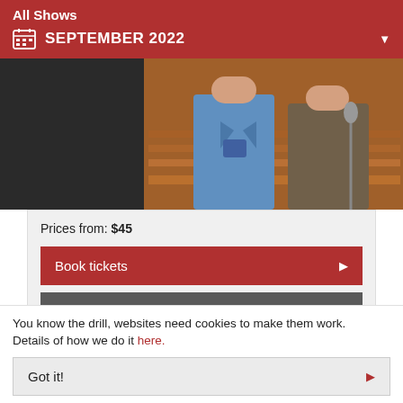All Shows
SEPTEMBER 2022
[Figure (photo): Two people standing on a stage, one in a blue suit holding something, the other in a brown jacket near a microphone]
Prices from: $45
Book tickets
More Info
You know the drill, websites need cookies to make them work. Details of how we do it here.
Got it!